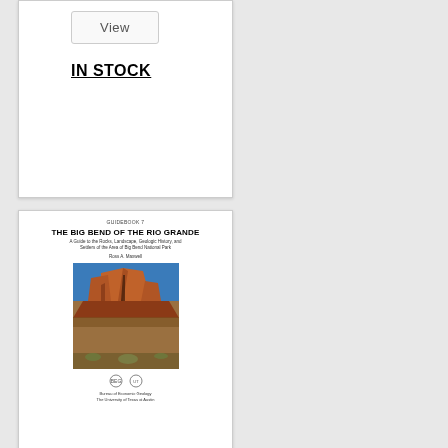View
IN STOCK
[Figure (photo): Book cover of 'The Big Bend of the Rio Grande' — Guidebook 7, showing red rock formations against a blue sky, published by Bureau of Economic Geology, The University of Texas at Austin]